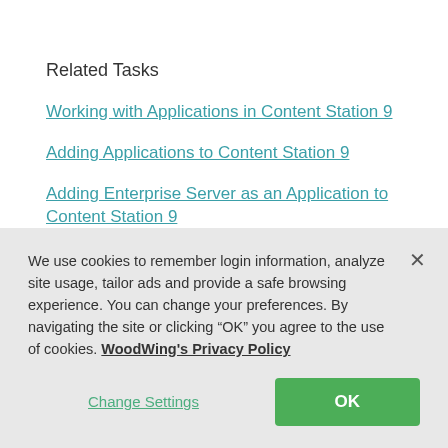Related Tasks
Working with Applications in Content Station 9
Adding Applications to Content Station 9
Adding Enterprise Server as an Application to Content Station 9
Adding applications installed on the system to Content…
We use cookies to remember login information, analyze site usage, tailor ads and provide a safe browsing experience. You can change your preferences. By navigating the site or clicking “OK” you agree to the use of cookies. WoodWing's Privacy Policy
Change Settings
OK